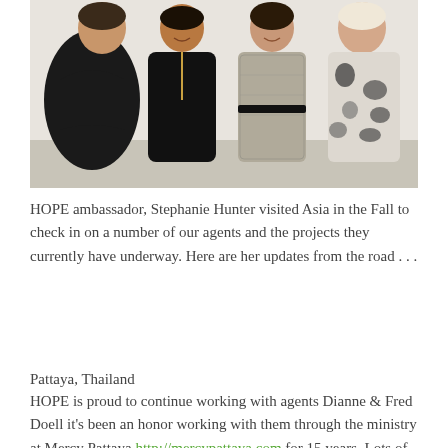[Figure (photo): Four women standing together posing for a photo. From left: woman in black draped top, woman in black zip-up dress, woman in patterned grey dress with black belt, woman in black and white patterned top.]
HOPE ambassador, Stephanie Hunter visited Asia in the Fall to check in on a number of our agents and the projects they currently have underway. Here are her updates from the road . . .
Pattaya, Thailand
HOPE is proud to continue working with agents Dianne & Fred Doell it's been an honor working with them through the ministry at Mercy Pattaya http://mercypattaya.com for 15 years. Lots of exciting things happening, always